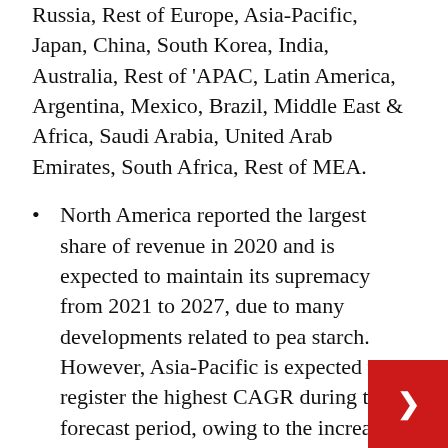Russia, Rest of Europe, Asia-Pacific, Japan, China, South Korea, India, Australia, Rest of 'APAC, Latin America, Argentina, Mexico, Brazil, Middle East & Africa, Saudi Arabia, United Arab Emirates, South Africa, Rest of MEA.
North America reported the largest share of revenue in 2020 and is expected to maintain its supremacy from 2021 to 2027, due to many developments related to pea starch. However, Asia-Pacific is expected to register the highest CAGR during the forecast period, owing to the increase in the sum of product launches, increase in product demand and growth in expenditure as well as the development of awareness of various new products that can replace conventional products. Pea starch